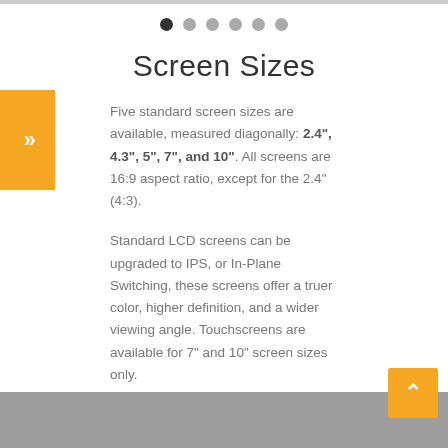[Figure (other): Navigation dots row with one filled dark dot and five gray dots]
Screen Sizes
Five standard screen sizes are available, measured diagonally: 2.4", 4.3", 5", 7", and 10". All screens are 16:9 aspect ratio, except for the 2.4" (4:3).
Standard LCD screens can be upgraded to IPS, or In-Plane Switching, these screens offer a truer color, higher definition, and a wider viewing angle. Touchscreens are available for 7" and 10" screen sizes only.
Check out our Video Book Guide for a screen size comparison chart.